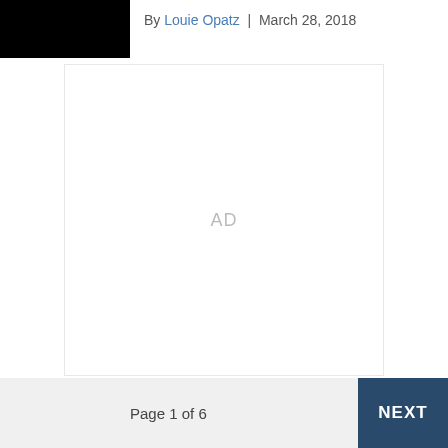[Figure (photo): Black rectangle representing a cropped/redacted image thumbnail]
By Louie Opatz | March 28, 2018
[Figure (other): Advertisement placeholder box with 'AD' text in center]
Page 1 of 6   NEXT